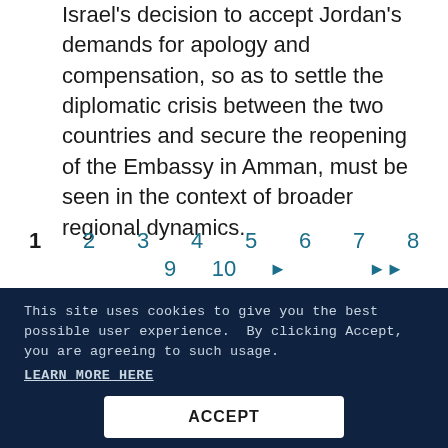Israel's decision to accept Jordan's demands for apology and compensation, so as to settle the diplomatic crisis between the two countries and secure the reopening of the Embassy in Amman, must be seen in the context of broader regional dynamics.
1  2  3  4  5  6  7  8
   9  10  ▶  ▶▶
This site uses cookies to give you the best possible user experience.  By clicking Accept, you are agreeing to such usage.
LEARN MORE HERE
ACCEPT